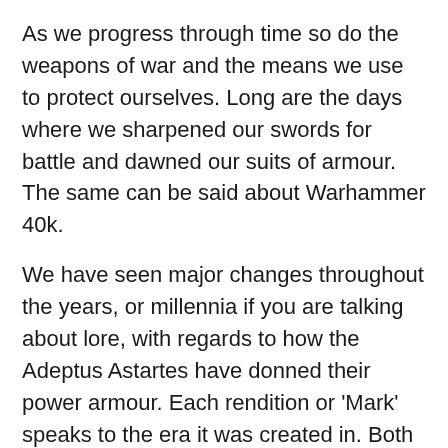As we progress through time so do the weapons of war and the means we use to protect ourselves. Long are the days where we sharpened our swords for battle and dawned our suits of armour. The same can be said about Warhammer 40k.
We have seen major changes throughout the years, or millennia if you are talking about lore, with regards to how the Adeptus Astartes have donned their power armour. Each rendition or 'Mark' speaks to the era it was created in. Both in the real world and the fictitious.
Some feature more segmented armour plating while others may herald more rounder 'futuristic' geometries. Whatever the differences each one is captivating and unique from one another. It is for these reasons I would like to share with you my top 5 favourite armour patterns of the Adeptus Astartes.
Now I should note dear reader, that the opinions that you are